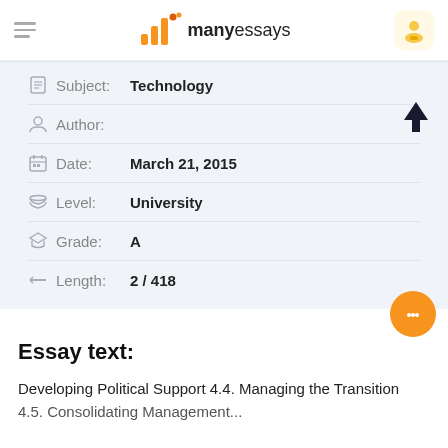manyessays
| Subject: | Technology |
| Author: |  |
| Date: | March 21, 2015 |
| Level: | University |
| Grade: | A |
| Length: | 2 / 418 |
Essay text:
Developing Political Support 4.4. Managing the Transition 4.5. Consolidating Management...